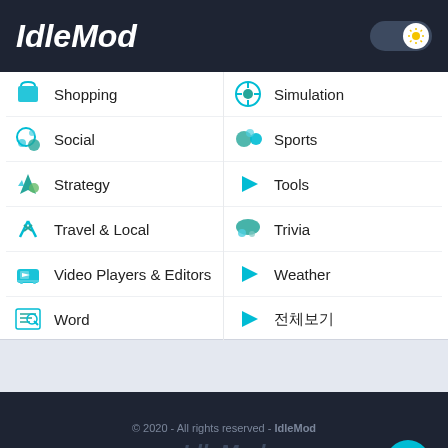IdleMod
Shopping
Simulation
Social
Sports
Strategy
Tools
Travel & Local
Trivia
Video Players & Editors
Weather
Word
전체보기
© 2020 - All rights reserved - IdleMod